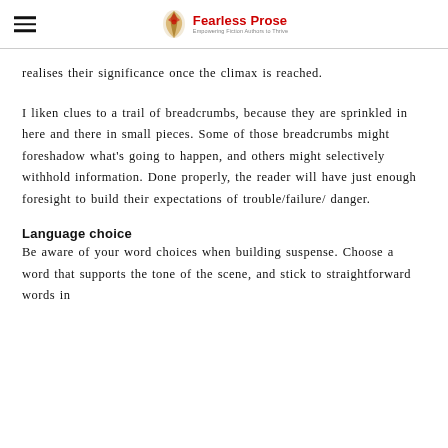Fearless Prose — Empowering Fiction Authors to Thrive
realises their significance once the climax is reached.
I liken clues to a trail of breadcrumbs, because they are sprinkled in here and there in small pieces. Some of those breadcrumbs might foreshadow what's going to happen, and others might selectively withhold information. Done properly, the reader will have just enough foresight to build their expectations of trouble/failure/ danger.
Language choice
Be aware of your word choices when building suspense. Choose a word that supports the tone of the scene, and stick to straightforward words in